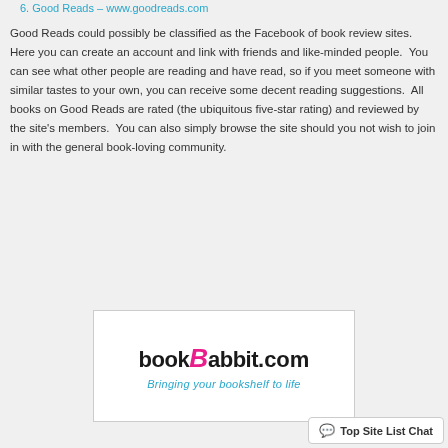6. Good Reads – www.goodreads.com
Good Reads could possibly be classified as the Facebook of book review sites.  Here you can create an account and link with friends and like-minded people.  You can see what other people are reading and have read, so if you meet someone with similar tastes to your own, you can receive some decent reading suggestions.  All books on Good Reads are rated (the ubiquitous five-star rating) and reviewed by the site's members.  You can also simply browse the site should you not wish to join in with the general book-loving community.
[Figure (logo): bookBabbit.com logo with tagline 'Bringing your bookshelf to life']